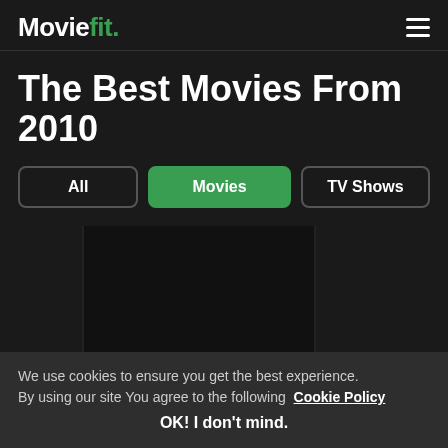Moviefit.
The Best Movies From 2010
All
Movies
TV Shows
[Figure (screenshot): Three dark thumbnail image placeholders side by side]
We use cookies to ensure you get the best experience. By using our site You agree to the following Cookie Policy
OK! I don't mind.